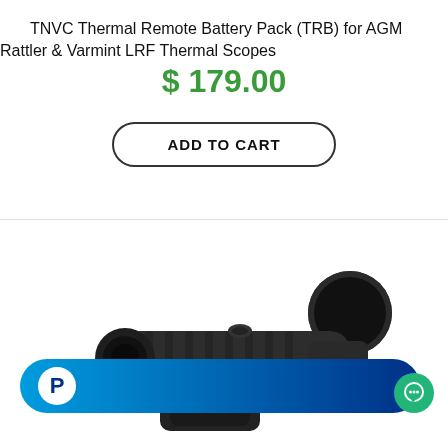TNVC Thermal Remote Battery Pack (TRB) for AGM Rattler & Varmint LRF Thermal Scopes
$ 179.00
ADD TO CART
[Figure (photo): Photo of a thermal scope / monocular device, dark-colored, viewed from an angle showing the eyepiece end, against a white background.]
[Figure (logo): PayPal pill-shaped banner button with white PayPal 'P' logo icon on the left and a blue gradient background from light blue to dark blue.]